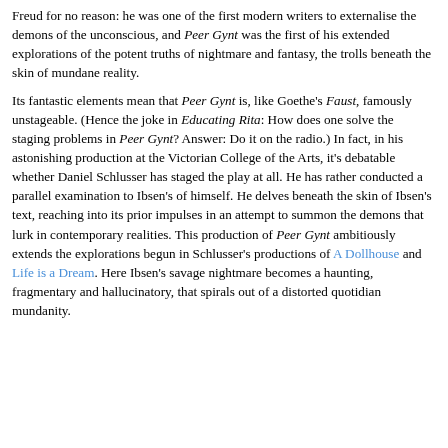Freud for no reason: he was one of the first modern writers to externalise the demons of the unconscious, and Peer Gynt was the first of his extended explorations of the potent truths of nightmare and fantasy, the trolls beneath the skin of mundane reality.
Its fantastic elements mean that Peer Gynt is, like Goethe's Faust, famously unstageable. (Hence the joke in Educating Rita: How does one solve the staging problems in Peer Gynt? Answer: Do it on the radio.) In fact, in his astonishing production at the Victorian College of the Arts, it's debatable whether Daniel Schlusser has staged the play at all. He has rather conducted a parallel examination to Ibsen's of himself. He delves beneath the skin of Ibsen's text, reaching into its prior impulses in an attempt to summon the demons that lurk in contemporary realities. This production of Peer Gynt ambitiously extends the explorations begun in Schlusser's productions of A Dollhouse and Life is a Dream. Here Ibsen's savage nightmare becomes a haunting, fragmentary and hallucinatory, that spirals out of a distorted quotidian mundanity.